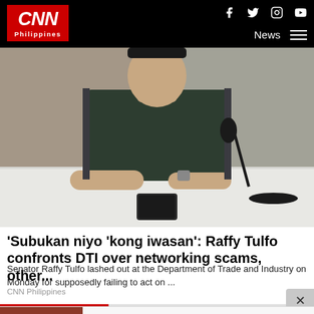CNN Philippines
[Figure (photo): Person in dark shirt seated at a desk/table with a microphone in front, viewed from the chest area, background is blurred office setting]
'Subukan niyo 'kong iwasan': Raffy Tulfo confronts DTI over networking scams, other...
Senator Raffy Tulfo lashed out at the Department of Trade and Industry on Monday for supposedly failing to act on ...
CNN Philippines
[Figure (screenshot): Advertisement banner for All In One Conference Software showing a person using a tablet/laptop]